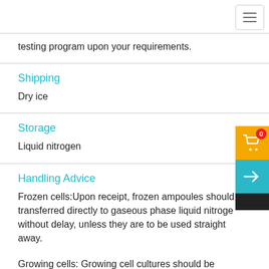testing program upon your requirements.
Shipping
Dry ice
Storage
Liquid nitrogen
Handling Advice
Frozen cells:Upon receipt, frozen ampoules should transferred directly to gaseous phase liquid nitrogen without delay, unless they are to be used straight away.
Growing cells: Growing cell cultures should be